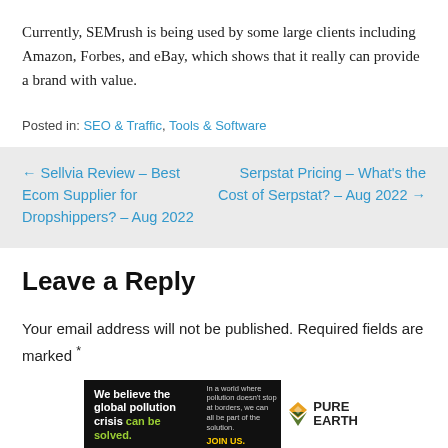Currently, SEMrush is being used by some large clients including Amazon, Forbes, and eBay, which shows that it really can provide a brand with value.
Posted in: SEO & Traffic, Tools & Software
← Sellvia Review – Best Ecom Supplier for Dropshippers? – Aug 2022
Serpstat Pricing – What's the Cost of Serpstat? – Aug 2022 →
Leave a Reply
Your email address will not be published. Required fields are marked *
[Figure (infographic): Pure Earth advertisement banner. Black background with text 'We believe the global pollution crisis can be solved.' alongside smaller text 'In a world where pollution doesn't stop at borders, we can all be part of the solution. JOIN US.' and Pure Earth logo.]